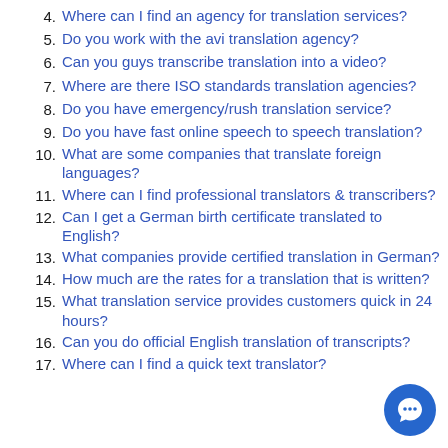4. Where can I find an agency for translation services?
5. Do you work with the avi translation agency?
6. Can you guys transcribe translation into a video?
7. Where are there ISO standards translation agencies?
8. Do you have emergency/rush translation service?
9. Do you have fast online speech to speech translation?
10. What are some companies that translate foreign languages?
11. Where can I find professional translators & transcribers?
12. Can I get a German birth certificate translated to English?
13. What companies provide certified translation in German?
14. How much are the rates for a translation that is written?
15. What translation service provides customers quick in 24 hours?
16. Can you do official English translation of transcripts?
17. Where can I find a quick text translator?
[Figure (other): Blue circular chat/message button icon in bottom right corner]